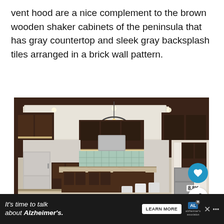vent hood are a nice complement to the brown wooden shaker cabinets of the peninsula that has gray countertop and sleek gray backsplash tiles arranged in a brick wall pattern.
[Figure (photo): Interior photo of a luxurious kitchen with dark brown shaker cabinets, large island with granite countertop and bar stools, pendant chandelier, stainless steel appliances, and green tile backsplash. Has social media like button (heart icon, 8.8K) and share button overlaid on right side.]
It's time to talk about Alzheimer's. LEARN MORE [Alzheimer's Association logo]